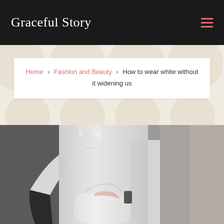Graceful Story
Home > Fashion and Beauty > How to wear white without it widening us
[Figure (photo): Street style photo of a woman with white/light grey hair wearing an all-white oversized coat, holding a white leather handbag, standing against a grey wall with blurred city background]